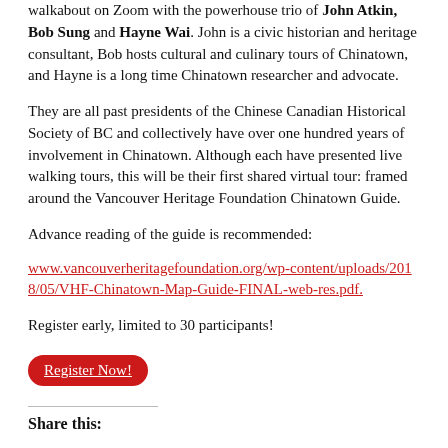walkabout on Zoom with the powerhouse trio of John Atkin, Bob Sung and Hayne Wai. John is a civic historian and heritage consultant, Bob hosts cultural and culinary tours of Chinatown, and Hayne is a long time Chinatown researcher and advocate.
They are all past presidents of the Chinese Canadian Historical Society of BC and collectively have over one hundred years of involvement in Chinatown. Although each have presented live walking tours, this will be their first shared virtual tour: framed around the Vancouver Heritage Foundation Chinatown Guide.
Advance reading of the guide is recommended: www.vancouverheritagefoundation.org/wp-content/uploads/2018/05/VHF-Chinatown-Map-Guide-FINAL-web-res.pdf.
Register early, limited to 30 participants!
Register Now!
Share this: